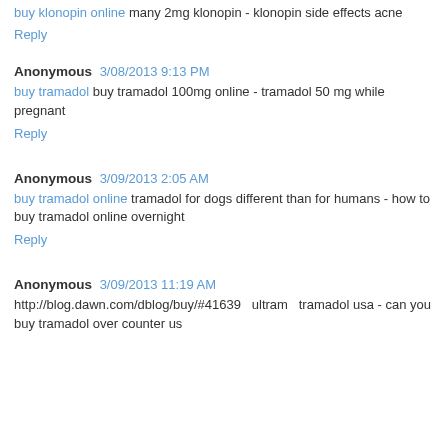buy klonopin online many 2mg klonopin - klonopin side effects acne
Reply
Anonymous 3/08/2013 9:13 PM
buy tramadol buy tramadol 100mg online - tramadol 50 mg while pregnant
Reply
Anonymous 3/09/2013 2:05 AM
buy tramadol online tramadol for dogs different than for humans - how to buy tramadol online overnight
Reply
Anonymous 3/09/2013 11:19 AM
http://blog.dawn.com/dblog/buy/#41639 ultram tramadol usa - can you buy tramadol over counter us